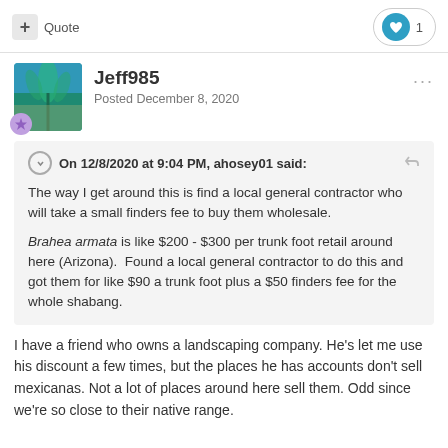+ Quote   ♥ 1
Jeff985
Posted December 8, 2020
On 12/8/2020 at 9:04 PM, ahosey01 said:
The way I get around this is find a local general contractor who will take a small finders fee to buy them wholesale.
Brahea armata is like $200 - $300 per trunk foot retail around here (Arizona).  Found a local general contractor to do this and got them for like $90 a trunk foot plus a $50 finders fee for the whole shabang.
I have a friend who owns a landscaping company. He's let me use his discount a few times, but the places he has accounts don't sell mexicanas. Not a lot of places around here sell them. Odd since we're so close to their native range.